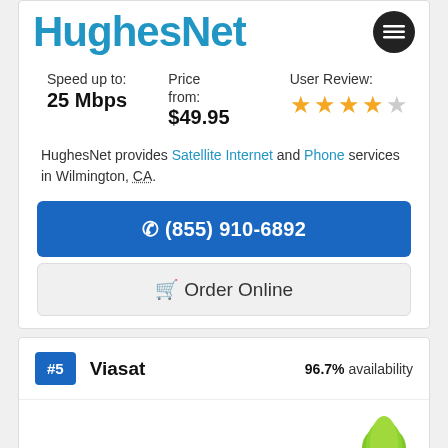[Figure (logo): HughesNet logo in blue text with dark circular menu icon]
Speed up to: 25 Mbps | Price from: $49.95 | User Review: 4 out of 5 stars
HughesNet provides Satellite Internet and Phone services in Wilmington, CA.
☎ (855) 910-6892
🛒 Order Online
#5 Viasat  96.7% availability
[Figure (illustration): Green rounded mountain/hill shape - Viasat logo illustration]